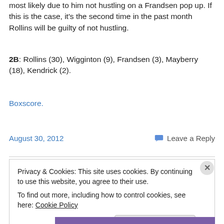most likely due to him not hustling on a Frandsen pop up. If this is the case, it's the second time in the past month Rollins will be guilty of not hustling.
2B: Rollins (30), Wigginton (9), Frandsen (3), Mayberry (18), Kendrick (2).
Boxscore.
August 30, 2012
Leave a Reply
Privacy & Cookies: This site uses cookies. By continuing to use this website, you agree to their use. To find out more, including how to control cookies, see here: Cookie Policy
Close and accept